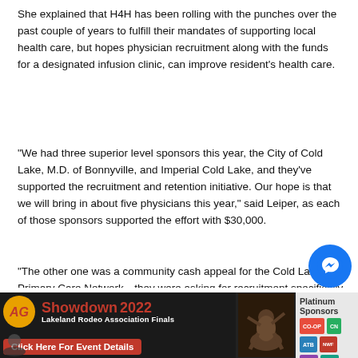She explained that H4H has been rolling with the punches over the past couple of years to fulfill their mandates of supporting local health care, but hopes physician recruitment along with the funds for a designated infusion clinic, can improve resident’s health care.
“We had three superior level sponsors this year, the City of Cold Lake, M.D. of Bonnyville, and Imperial Cold Lake, and they’ve supported the recruitment and retention initiative. Our hope is that we will bring in about five physicians this year,” said Leiper, as each of those sponsors supported the effort with $30,000.
“The other one was a community cash appeal for the Cold Lake Primary Care Network…they were asking for recruitment specifically for an infusion clinic. That w… provide some equipment that would increase the ca…
[Figure (other): Messenger chat button icon (blue circle with lightning bolt)]
[Figure (other): Advertisement banner for Showdown 2022 Lakeland Rodeo Association Finals with Click Here For Event Details button and Platinum Sponsors logos]